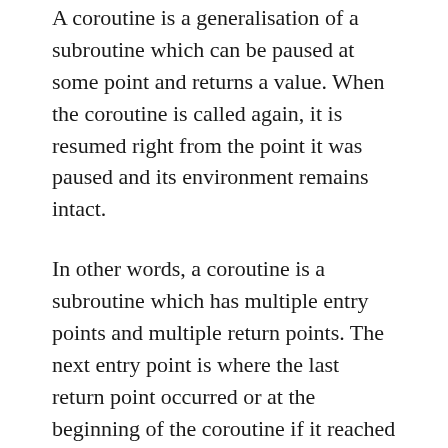A coroutine is a generalisation of a subroutine which can be paused at some point and returns a value. When the coroutine is called again, it is resumed right from the point it was paused and its environment remains intact.
In other words, a coroutine is a subroutine which has multiple entry points and multiple return points. The next entry point is where the last return point occurred or at the beginning of the coroutine if it reached its end previously. Meanwhile a subroutine only has one entry point and one or more return points.
Example:
In this example, the pause and return point is